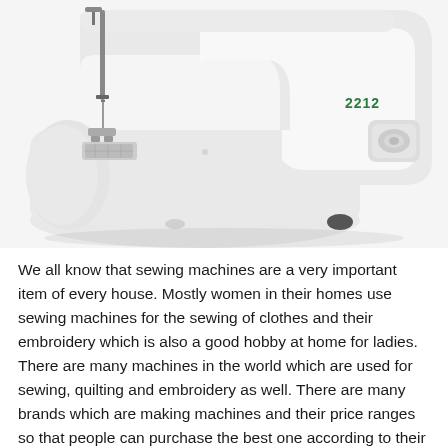[Figure (photo): Close-up photo of a white Singer 2212 sewing machine, showing the needle area, presser foot, bobbin winder, and the arm/body of the machine against a white background.]
We all know that sewing machines are a very important item of every house. Mostly women in their homes use sewing machines for the sewing of clothes and their embroidery which is also a good hobby at home for ladies. There are many machines in the world which are used for sewing, quilting and embroidery as well. There are many brands which are making machines and their price ranges so that people can purchase the best one according to their own